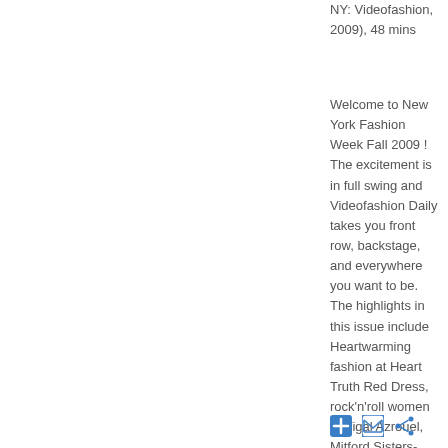NY: Videofashion, 2009), 48 mins
Welcome to New York Fashion Week Fall 2009 ! The excitement is in full swing and Videofashion Daily takes you front row, backstage, and everywhere you want to be. The highlights in this issue include Heartwarming fashion at Heart Truth Red Dress, rock'n'roll women at Yigal Azrouel, Mitford Sisters-inspired Al…